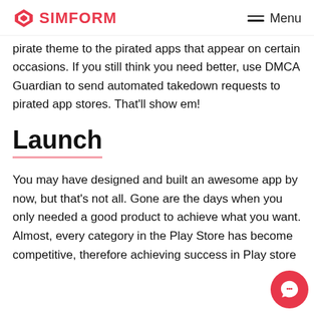SIMFORM | Menu
pirate theme to the pirated apps that appear on certain occasions. If you still think you need better, use DMCA Guardian to send automated takedown requests to pirated app stores. That'll show em!
Launch
You may have designed and built an awesome app by now, but that's not all. Gone are the days when you only needed a good product to achieve what you want. Almost, every category in the Play Store has become competitive, therefore achieving success in Play store